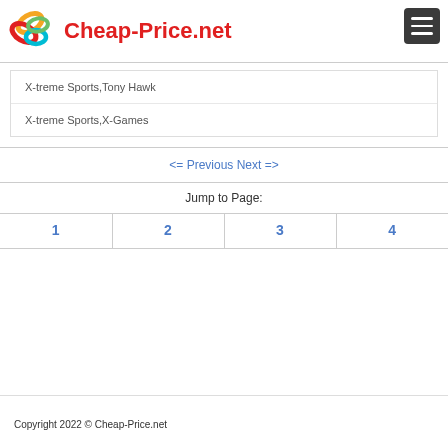[Figure (logo): Cheap-Price.net logo with colorful overlapping loops and red bold text]
X-treme Sports,Tony Hawk
X-treme Sports,X-Games
<= Previous Next =>
Jump to Page:
| 1 | 2 | 3 | 4 |
Copyright 2022 © Cheap-Price.net